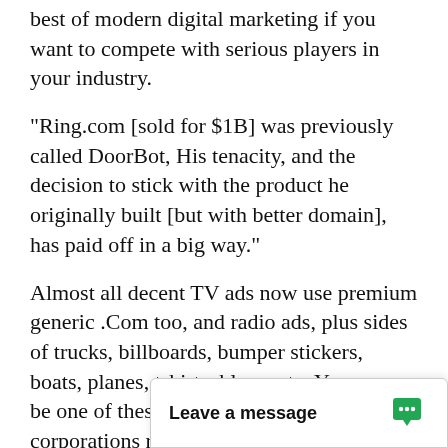best of modern digital marketing if you want to compete with serious players in your industry.
"Ring.com [sold for $1B] was previously called DoorBot, His tenacity, and the decision to stick with the product he originally built [but with better domain], has paid off in a big way."
Almost all decent TV ads now use premium generic .Com too, and radio ads, plus sides of trucks, billboards, bumper stickers, boats, planes, tshirts, blogs, etc. You may be one of these 'Fortune 500' mega corporations ready to dominate the world, or just a regular granny in your underwear, but either way you can look the same with HumorAbsurdo.com.
DomainMarket.com is the only authorized pricing agent for this domain... party seller. Every do...
Leave a message